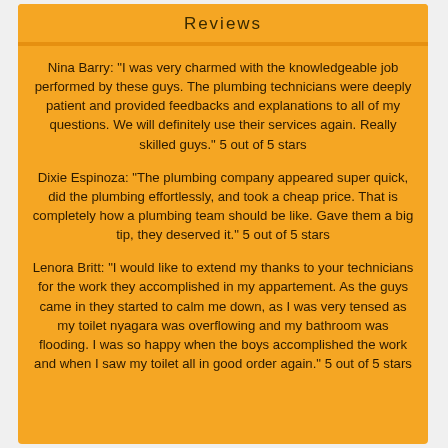Reviews
Nina Barry: "I was very charmed with the knowledgeable job performed by these guys. The plumbing technicians were deeply patient and provided feedbacks and explanations to all of my questions. We will definitely use their services again. Really skilled guys." 5 out of 5 stars
Dixie Espinoza: "The plumbing company appeared super quick, did the plumbing effortlessly, and took a cheap price. That is completely how a plumbing team should be like. Gave them a big tip, they deserved it." 5 out of 5 stars
Lenora Britt: "I would like to extend my thanks to your technicians for the work they accomplished in my appartement. As the guys came in they started to calm me down, as I was very tensed as my toilet nyagara was overflowing and my bathroom was flooding. I was so happy when the boys accomplished the work and when I saw my toilet all in good order again." 5 out of 5 stars